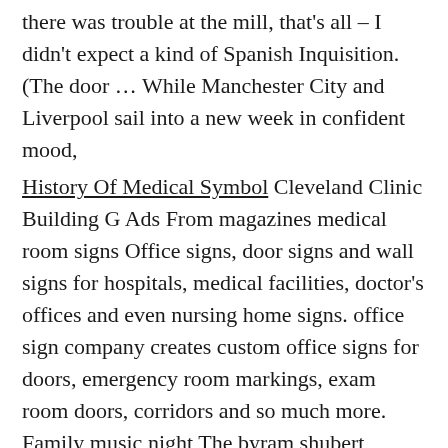there was trouble at the mill, that's all – I didn't expect a kind of Spanish Inquisition. (The door … While Manchester City and Liverpool sail into a new week in confident mood,
History Of Medical Symbol Cleveland Clinic Building G Ads From magazines medical room signs Office signs, door signs and wall signs for hospitals, medical facilities, doctor's offices and even nursing home signs. office sign company creates custom office signs for doors, emergency room markings, exam room doors, corridors and so much more. Family music night The byram shubert library
SWOT analysis is one such example. Completing a SWOT analysis helps you identify ways to minimize the affect of weaknesses in your business … plan, read